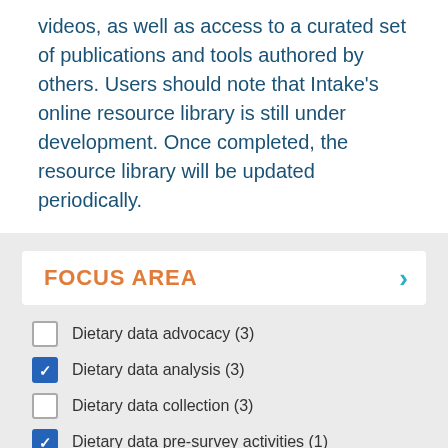videos, as well as access to a curated set of publications and tools authored by others. Users should note that Intake's online resource library is still under development.  Once completed, the resource library will be updated periodically.
FOCUS AREA
Dietary data advocacy (3)
Dietary data analysis (3)
Dietary data collection (3)
Dietary data pre-survey activities (1)
Dietary data survey planning (5)
Show more